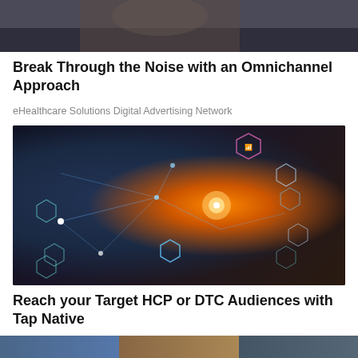[Figure (photo): Top portion of a photo, dark background showing a person's hands or upper body, partially cropped]
Break Through the Noise with an Omnichannel Approach
eHealthcare Solutions Digital Advertising Network
[Figure (photo): Photo of a person using a tablet device with a digital network overlay showing connected hexagonal icons representing various digital services like WiFi, location, communication, overlaid with glowing light effects in orange and blue tones]
Reach your Target HCP or DTC Audiences with Tap Native
eHealthcare Solutions Digital Advertising Network
[Figure (photo): Bottom strip showing three partial images side by side, partially visible at bottom of page]